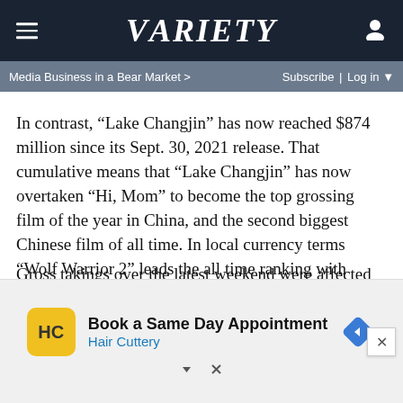VARIETY
Media Business in a Bear Market >   Subscribe | Log in
In contrast, “Lake Changjin” has now reached $874 million since its Sept. 30, 2021 release. That cumulative means that “Lake Changjin” has now overtaken “Hi, Mom” to become the top grossing film of the year in China, and the second biggest Chinese film of all time. In local currency terms “Wolf Warrior 2” leads the all time ranking with RMB5.69 billion, ahead of “Lake Changjin” on RMB5.60 billion, and “Hi, Mom” on RMB5.41 billion.
Gross takings over the latest weekend were affected by a significant number of cinema closures, estimated at around 10% of the national total, due to measures being taken to
[Figure (other): Advertisement banner: Book a Same Day Appointment - Hair Cuttery, with HC logo and navigation icon]